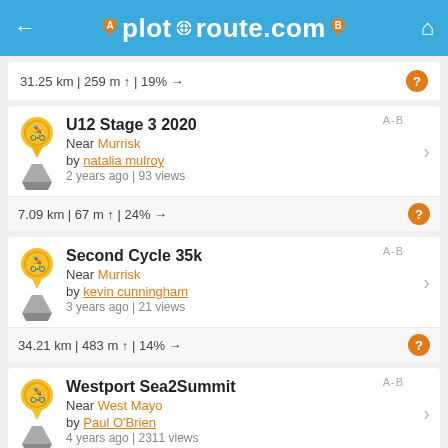plotaroute.com
31.25 km | 259 m ↑ | 19% →
U12 Stage 3 2020
Near Murrisk
by natalia mulroy
2 years ago | 93 views
7.09 km | 67 m ↑ | 24% →
Second Cycle 35k
Near Murrisk
by kevin cunningham
3 years ago | 21 views
34.21 km | 483 m ↑ | 14% →
Westport Sea2Summit
Near West Mayo
by Paul O'Brien
4 years ago | 2311 views
35.08 km | 477 m ↑ | 15% →
Wild Atlantic Way